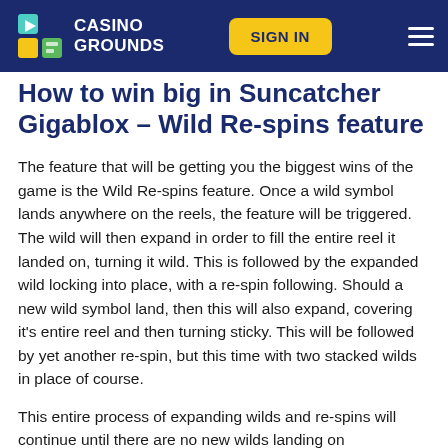CASINO GROUNDS | SIGN IN
How to win big in Suncatcher Gigablox – Wild Re-spins feature
The feature that will be getting you the biggest wins of the game is the Wild Re-spins feature. Once a wild symbol lands anywhere on the reels, the feature will be triggered. The wild will then expand in order to fill the entire reel it landed on, turning it wild. This is followed by the expanded wild locking into place, with a re-spin following. Should a new wild symbol land, then this will also expand, covering it's entire reel and then turning sticky. This will be followed by yet another re-spin, but this time with two stacked wilds in place of course.
This entire process of expanding wilds and re-spins will continue until there are no new wilds landing on